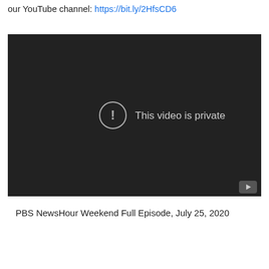our YouTube channel: https://bit.ly/2HfsCD6
[Figure (screenshot): Embedded YouTube video player showing 'This video is private' error message with warning circle icon on dark background. YouTube play button icon visible in bottom-right corner.]
PBS NewsHour Weekend Full Episode, July 25, 2020